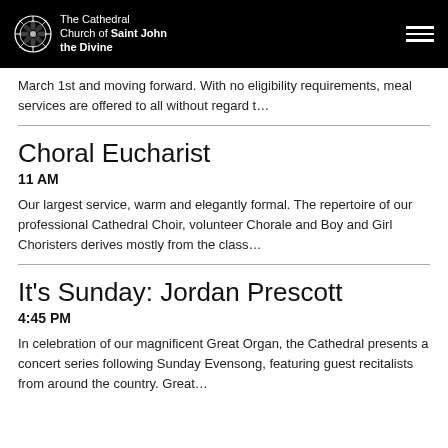The Cathedral Church of Saint John the Divine
March 1st and moving forward. With no eligibility requirements, meal services are offered to all without regard t…
Choral Eucharist
11 AM
Our largest service, warm and elegantly formal. The repertoire of our professional Cathedral Choir, volunteer Chorale and Boy and Girl Choristers derives mostly from the class…
It's Sunday: Jordan Prescott
4:45 PM
In celebration of our magnificent Great Organ, the Cathedral presents a concert series following Sunday Evensong, featuring guest recitalists from around the country. Great…